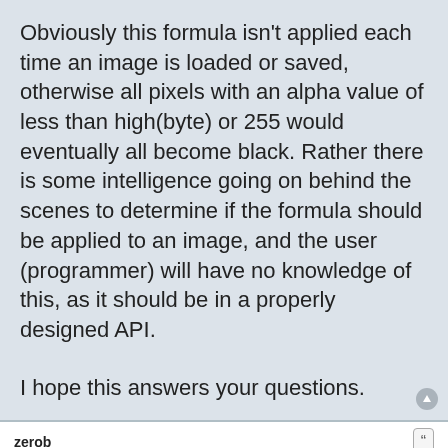Obviously this formula isn't applied each time an image is loaded or saved, otherwise all pixels with an alpha value of less than high(byte) or 255 would eventually all become black. Rather there is some intelligence going on behind the scenes to determine if the formula should be applied to an image, and the user (programmer) will have no knowledge of this, as it should be in a properly designed API.

I hope this answers your questions.
zerob
Re: Custom oscilloscope overlay widget
Wed Mar 25, 2015 7:30 pm
Somehow i can't send you a private message, but do you know when you release this library? It looks